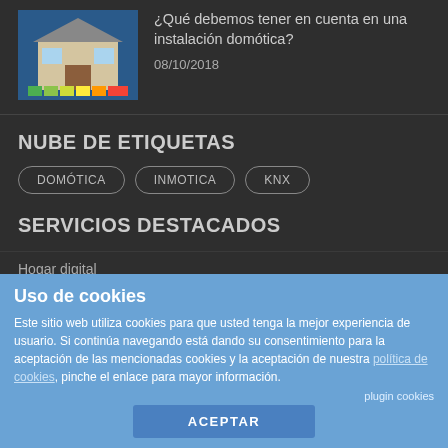[Figure (photo): Thumbnail image of a house with energy efficiency color blocks (blue background, small colorful bars below), representing a domotics/smart home installation article.]
¿Qué debemos tener en cuenta en una instalación domótica?
08/10/2018
NUBE DE ETIQUETAS
DOMÓTICA
INMOTICA
KNX
SERVICIOS DESTACADOS
Hogar digital
Instalación domótica
Inmotica
KNX Domótica
Uso de cookies
Este sitio web utiliza cookies para que usted tenga la mejor experiencia de usuario. Si continúa navegando está dando su consentimiento para la aceptación de las mencionadas cookies y la aceptación de nuestra política de cookies, pinche el enlace para mayor información.
plugin cookies
ACEPTAR